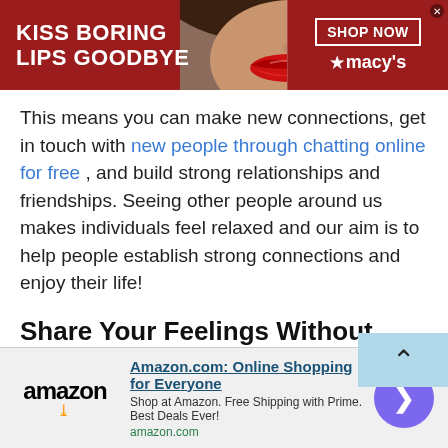[Figure (screenshot): Macy's advertisement banner with dark red background, text 'KISS BORING LIPS GOODBYE', woman with red lips in center, 'SHOP NOW' button and Macy's star logo on right side]
This means you can make new connections, get in touch with new people through chatting online for free , and build strong relationships and friendships. Seeing other people around us makes individuals feel relaxed and our aim is to help people establish strong connections and enjoy their life!
Share Your Feelings Without Hesitation
One thing most of us struggle with is sharing our feelings
[Figure (screenshot): Amazon advertisement banner showing Amazon logo with smile, title 'Amazon.com: Online Shopping for Everyone', description 'Shop at Amazon. Free Shipping with Prime. Best Deals Ever!', amazon.com URL, and purple circular call-to-action button with right arrow]